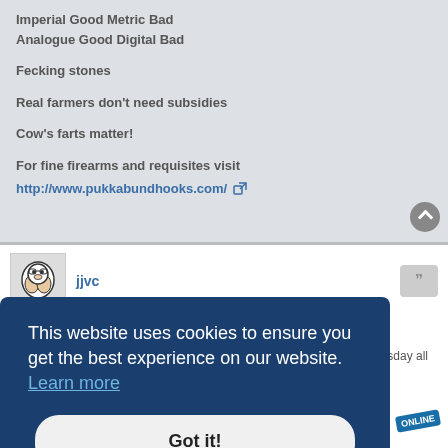Imperial Good Metric Bad
Analogue Good Digital Bad
Fecking stones
Real farmers don't need subsidies
Cow's farts matter!
For fine firearms and requisites visit
http://www.pukkabundhooks.com/
jjvc
Re: FB-UK Cast Boolit summer league.
This website uses cookies to ensure you get the best experience on our website. Learn more
Got it!
dromia
Site Admin